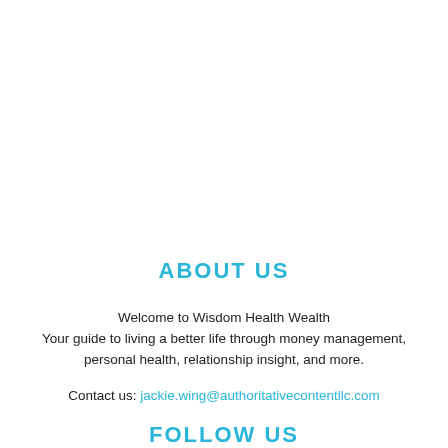ABOUT US
Welcome to Wisdom Health Wealth
Your guide to living a better life through money management, personal health, relationship insight, and more.
Contact us: jackie.wing@authoritativecontentllc.com
FOLLOW US